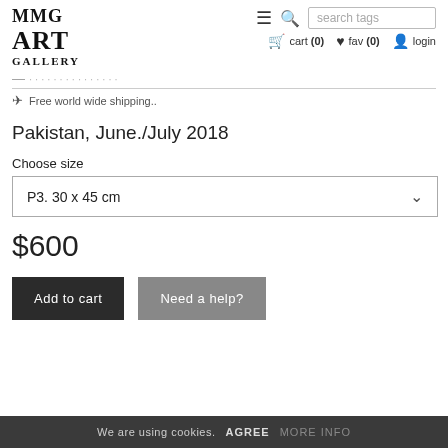MMG ART GALLERY — navigation header with cart (0), fav (0), login, search tags
Free world wide shipping..
Pakistan, June./July 2018
Choose size
P3. 30 x 45 cm
$600
Add to cart
Need a help?
We are using cookies.  AGREE  MORE INFO